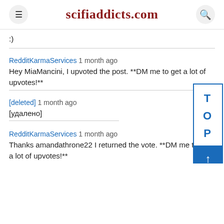scifiaddicts.com
:)
RedditKarmaServices 1 month ago
Hey MiaMancini, I upvoted the post. **DM me to get a lot of upvotes!**
[deleted] 1 month ago
[удалено]
RedditKarmaServices 1 month ago
Thanks amandathrone22 I returned the vote. **DM me to get a lot of upvotes!**